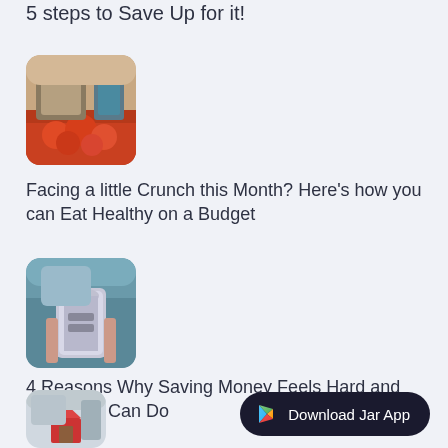5 steps to Save Up for it!
[Figure (photo): Person holding vegetables at a market, tomatoes visible in the foreground]
Facing a little Crunch this Month? Here's how you can Eat Healthy on a Budget
[Figure (photo): Person holding a glass piggy bank / jar with coins]
4 Reasons Why Saving Money Feels Hard and What You Can Do
[Figure (photo): Person holding a small red house model]
Download Jar App